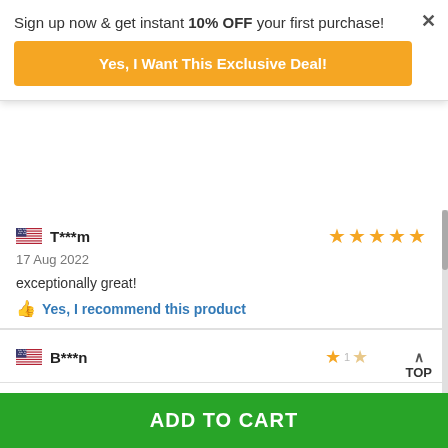Sign up now & get instant 10% OFF your first purchase!
Yes, I Want This Exclusive Deal!
purchase. The store is great!
Yes, I recommend this product
T***m
17 Aug 2022
exceptionally great!
Yes, I recommend this product
B***n
ADD TO CART